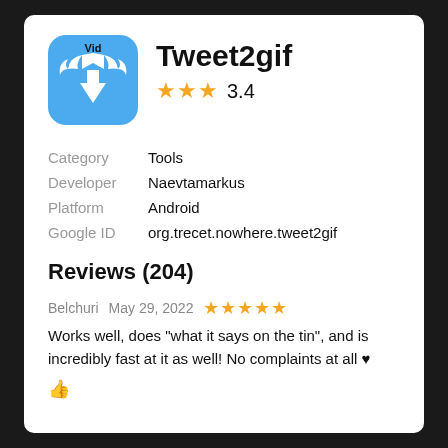[Figure (logo): Tweet2gif app icon: blue rounded square with white wings and downward arrow, 'Vid' text on top]
Tweet2gif
★★★ 3.4
| Label | Value |
| --- | --- |
| Category | Tools |
| Developer | Naevtamarkus |
| Platform | Android |
| Google ID | org.trecet.nowhere.tweet2gif |
Reviews (204)
Belchuri   May 29, 2022   ★★★★★
Works well, does "what it says on the tin", and is incredibly fast at it as well! No complaints at all ♥
👍